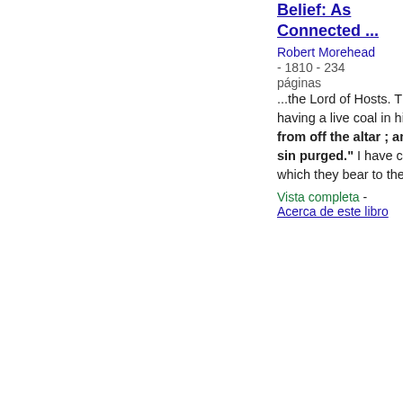Belief: As Connected ...
Robert Morehead
- 1810 - 234 páginas
...the Lord of Hosts. Then flew one of the seraphims unto me, having a live coal in his hand, which lie had taken with the tongs from off the altar ; and...thine iniquity is taken away, and thy sin purged." I have chosen the words, from the natural reference which they bear to the late solemn occasion of...
Vista completa - Acerca de este libro